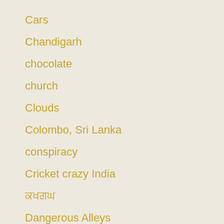Cars
Chandigarh
chocolate
church
Clouds
Colombo, Sri Lanka
conspiracy
Cricket crazy India
क्रिकेट
Dangerous Alleys
Dasara/Dassehra
data transfer mode